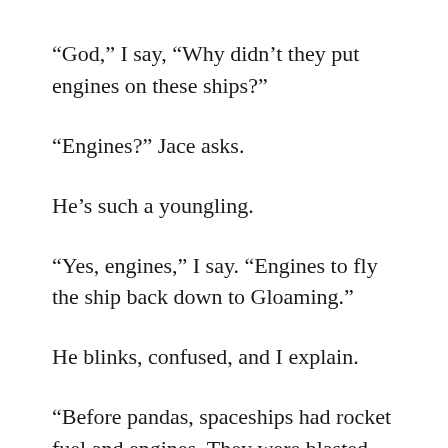“God,” I say, “Why didn’t they put engines on these ships?”
“Engines?” Jace asks.
He’s such a youngling.
“Yes, engines,” I say. “Engines to fly the ship back down to Gloaming.”
He blinks, confused, and I explain.
“Before pandas, spaceships had rocket fuel and engines. They were blasted through the atmosphere by giant explosions, and they flew. Like birds, but straight up.”